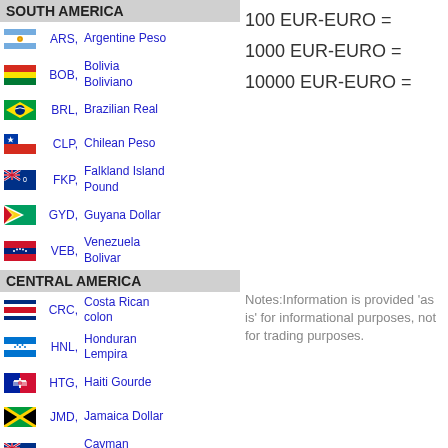SOUTH AMERICA
ARS, Argentine Peso
BOB, Bolivia Boliviano
BRL, Brazilian Real
CLP, Chilean Peso
FKP, Falkland Island Pound
GYD, Guyana Dollar
VEB, Venezuela Bolivar
CENTRAL AMERICA
CRC, Costa Rican colon
HNL, Honduran Lempira
HTG, Haiti Gourde
JMD, Jamaica Dollar
KYD, Cayman Islands Dollar
NIO, Nicaragua Oro
PYG, Paraguay Guarani
100 EUR-EURO =
1000 EUR-EURO =
10000 EUR-EURO =
Notes:Information is provided 'as is' for informational purposes, not for trading purposes.